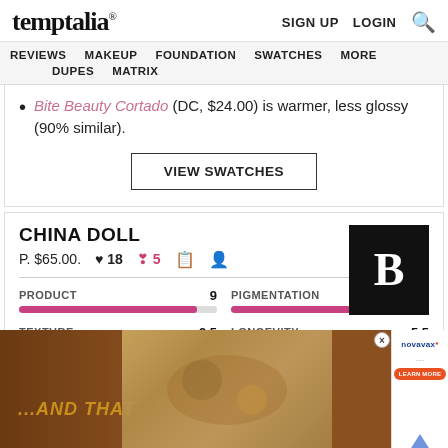temptalia® | SIGN UP | LOGIN | Search
REVIEWS | MAKEUP | FOUNDATION | SWATCHES | MORE | DUPES | MATRIX
Bite Beauty Cortado (DC, $24.00) is warmer, less glossy (90% similar).
VIEW SWATCHES
CHINA DOLL
P. $65.00. ♥ 18 💔 5
| PRODUCT | Score | PIGMENTATION | Score |
| --- | --- | --- | --- |
| PRODUCT | 9 | PIGMENTATION | 9.5 |
| TEXTURE | 9.5 | LONGEVITY | 5.5 |